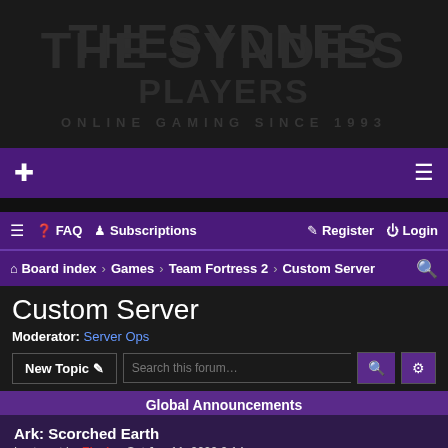[Figure (logo): Dark banner logo with large stylized text and subtitle 'ONLINE GAMING SINCE 1993']
Navigation bar with crosshair icon and menu icon
☰ FAQ  Subscriptions  Register  Login
Board index › Games › Team Fortress 2 › Custom Server
Custom Server
Moderator: Server Ops
New Topic  Search this forum…
28 topics • Page 1 of 1
Global Announcements
Ark: Scorched Earth
Last post by Flash « Sat Jun 11, 2022 2:14 pm
Posted in Announcements